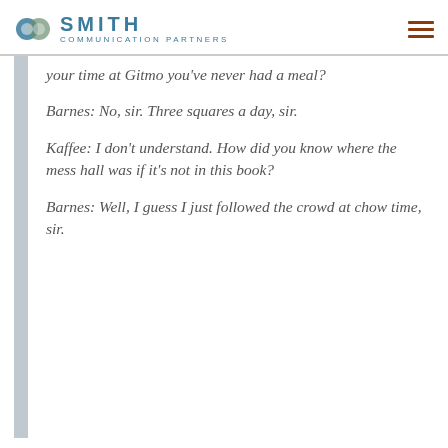SMITH COMMUNICATION PARTNERS
your time at Gitmo you've never had a meal?
Barnes: No, sir. Three squares a day, sir.
Kaffee: I don't understand. How did you know where the mess hall was if it's not in this book?
Barnes: Well, I guess I just followed the crowd at chow time, sir.